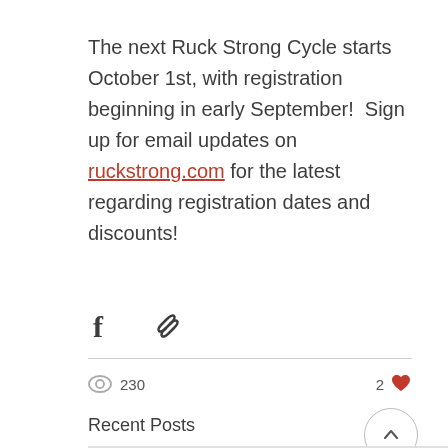The next Ruck Strong Cycle starts October 1st, with registration beginning in early September!  Sign up for email updates on ruckstrong.com for the latest regarding registration dates and discounts!
[Figure (other): Social share icons: Facebook icon and chain/link icon]
230 views, 2 likes
Recent Posts